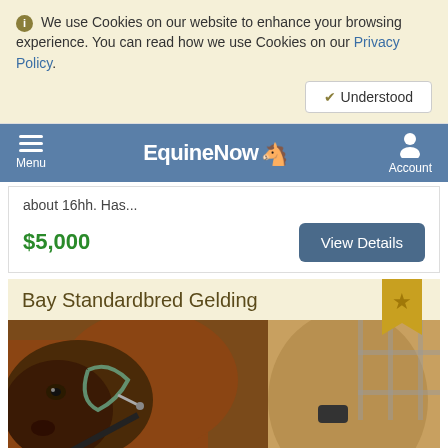We use Cookies on our website to enhance your browsing experience. You can read how we use Cookies on our Privacy Policy.
Understood
EquineNow Menu Account
about 16hh. Has...
$5,000
View Details
Bay Standardbred Gelding
[Figure (photo): Bay Standardbred Gelding horse being groomed in a stable, showing head and neck of a brown horse with a halter, and a person's hands visible grooming the horse's side]